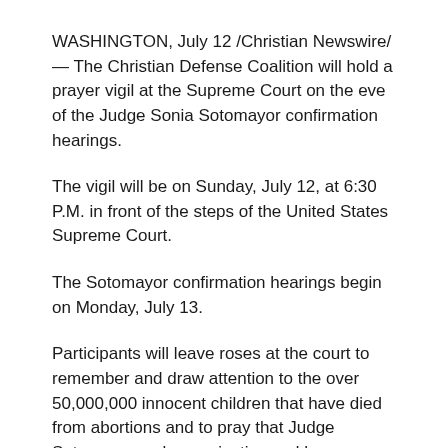WASHINGTON, July 12 /Christian Newswire/ — The Christian Defense Coalition will hold a prayer vigil at the Supreme Court on the eve of the Judge Sonia Sotomayor confirmation hearings.
The vigil will be on Sunday, July 12, at 6:30 P.M. in front of the steps of the United States Supreme Court.
The Sotomayor confirmation hearings begin on Monday, July 13.
Participants will leave roses at the court to remember and draw attention to the over 50,000,000 innocent children that have died from abortions and to pray that Judge Sotomayor embraces justice and human rights.
They will also be praying from Proverbs 21:1 which says,